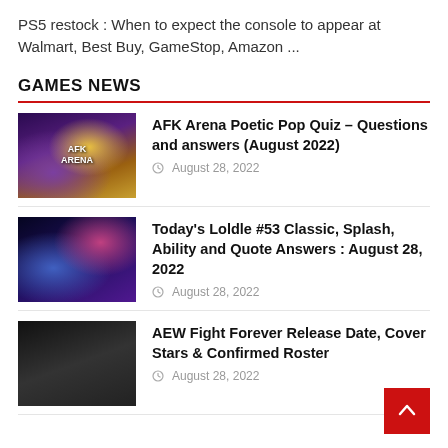PS5 restock : When to expect the console to appear at Walmart, Best Buy, GameStop, Amazon ...
GAMES NEWS
AFK Arena Poetic Pop Quiz – Questions and answers (August 2022) | August 28, 2022
Today's Loldle #53 Classic, Splash, Ability and Quote Answers : August 28, 2022 | August 28, 2022
AEW Fight Forever Release Date, Cover Stars & Confirmed Roster | August 28, 2022